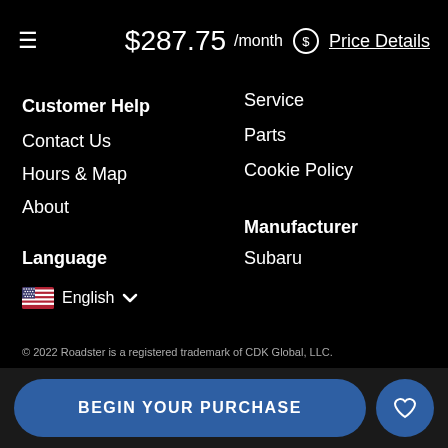≡  $287.75 /month $ Price Details
Service
Parts
Cookie Policy
Customer Help
Contact Us
Hours & Map
About
Language
English ∨
Manufacturer
Subaru
© 2022 Roadster is a registered trademark of CDK Global, LLC.
BEGIN YOUR PURCHASE